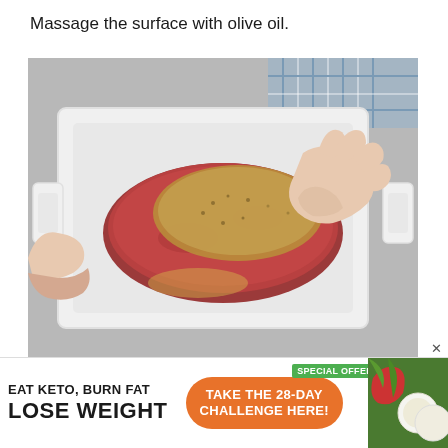Massage the surface with olive oil.
[Figure (photo): Overhead view of hands massaging herb and spice rub onto a piece of raw beef in a white ceramic baking dish, with olive oil visible, set on a gray surface with a blue checkered cloth in the background.]
[Figure (infographic): Advertisement banner: 'EAT KETO, BURN FAT / LOSE WEIGHT' on the left in bold black text, an orange pill-shaped button in the center reading 'TAKE THE 28-DAY CHALLENGE HERE!', a green 'SPECIAL OFFER' badge in the top right corner, and food imagery on the right side.]